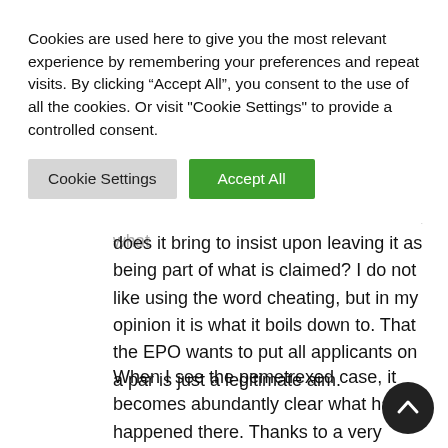Cookies are used here to give you the most relevant experience by remembering your preferences and repeat visits. By clicking “Accept All”, you consent to the use of all the cookies. Or visit "Cookie Settings" to provide a controlled consent.
Cookie Settings | Accept All
of the invention as defined in the claims, what does it bring to insist upon leaving it as being part of what is claimed? I do not like using the word cheating, but in my opinion it is what it boils down to. That the EPO wants to put all applicants on a par is just a legitimate aim.
When I see the pemetrexed case, it becomes abundantly clear what has happened there. Thanks to a very broad statement in the introduction of the description, the proprietor was able to claim an invention he had never made at